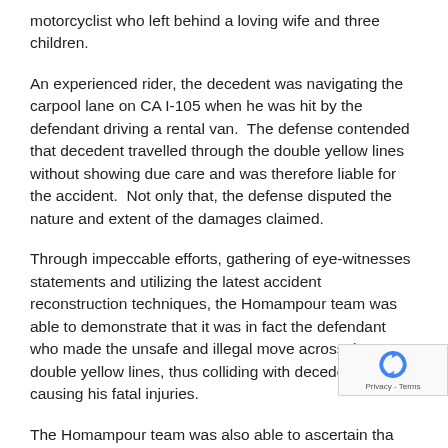motorcyclist who left behind a loving wife and three children.
An experienced rider, the decedent was navigating the carpool lane on CA I-105 when he was hit by the defendant driving a rental van.  The defense contended that decedent travelled through the double yellow lines without showing due care and was therefore liable for the accident.  Not only that, the defense disputed the nature and extent of the damages claimed.
Through impeccable efforts, gathering of eye-witnesses statements and utilizing the latest accident reconstruction techniques, the Homampour team was able to demonstrate that it was in fact the defendant who made the unsafe and illegal move across the double yellow lines, thus colliding with decedent and causing his fatal injuries.
The Homampour team was also able to ascertain that the defendant was working for her employer at the time, making